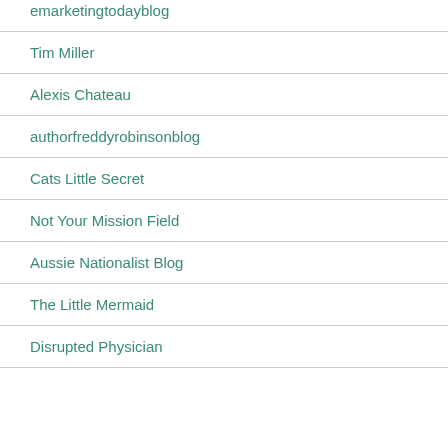emarketingtodayblog
Tim Miller
Alexis Chateau
authorfreddyrobinsonblog
Cats Little Secret
Not Your Mission Field
Aussie Nationalist Blog
The Little Mermaid
Disrupted Physician